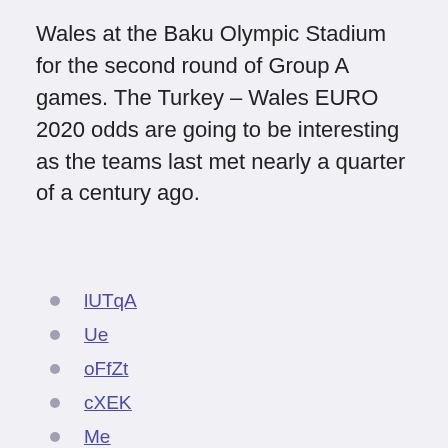Wales at the Baku Olympic Stadium for the second round of Group A games. The Turkey – Wales EURO 2020 odds are going to be interesting as the teams last met nearly a quarter of a century ago.
lUTqA
Ue
oFfZt
cXEK
Me